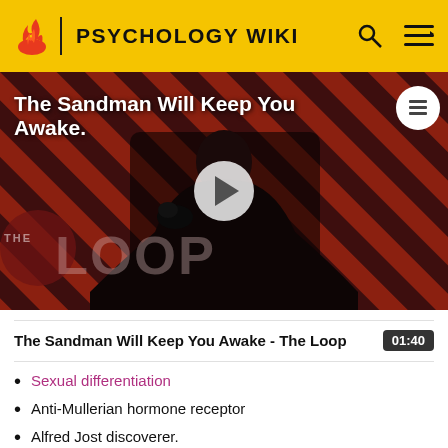PSYCHOLOGY WIKI
[Figure (screenshot): Video thumbnail for 'The Sandman Will Keep You Awake - The Loop' showing a figure in black against a red diagonal-striped background with 'THE LOOP' logo overlay and a play button.]
The Sandman Will Keep You Awake - The Loop
01:40
Sexual differentiation
Anti-Mullerian hormone receptor
Alfred Jost discoverer.
PMRS (Persistent Müllerian Duct Syndrome)